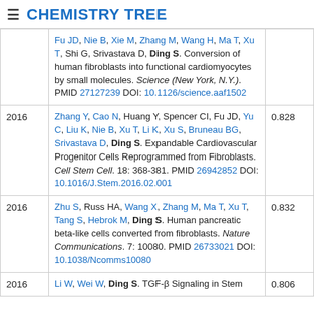CHEMISTRY TREE
| Year | Reference | Score |
| --- | --- | --- |
|  | Fu JD, Nie B, Xie M, Zhang M, Wang H, Ma T, Xu T, Shi G, Srivastava D, Ding S. Conversion of human fibroblasts into functional cardiomyocytes by small molecules. Science (New York, N.Y.). PMID 27127239 DOI: 10.1126/science.aaf1502 |  |
| 2016 | Zhang Y, Cao N, Huang Y, Spencer CI, Fu JD, Yu C, Liu K, Nie B, Xu T, Li K, Xu S, Bruneau BG, Srivastava D, Ding S. Expandable Cardiovascular Progenitor Cells Reprogrammed from Fibroblasts. Cell Stem Cell. 18: 368-381. PMID 26942852 DOI: 10.1016/J.Stem.2016.02.001 | 0.828 |
| 2016 | Zhu S, Russ HA, Wang X, Zhang M, Ma T, Xu T, Tang S, Hebrok M, Ding S. Human pancreatic beta-like cells converted from fibroblasts. Nature Communications. 7: 10080. PMID 26733021 DOI: 10.1038/Ncomms10080 | 0.832 |
| 2016 | Li W, Wei W, Ding S. TGF-β Signaling in Stem ... | 0.806 |